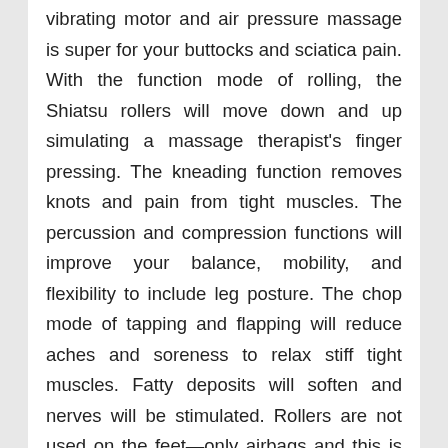vibrating motor and air pressure massage is super for your buttocks and sciatica pain. With the function mode of rolling, the Shiatsu rollers will move down and up simulating a massage therapist's finger pressing. The kneading function removes knots and pain from tight muscles. The percussion and compression functions will improve your balance, mobility, and flexibility to include leg posture. The chop mode of tapping and flapping will reduce aches and soreness to relax stiff tight muscles. Fatty deposits will soften and nerves will be stimulated. Rollers are not used on the feet—only airbags and this is great for the plantar fasciitis that is horrific heel and bottom foot pain. The back of the